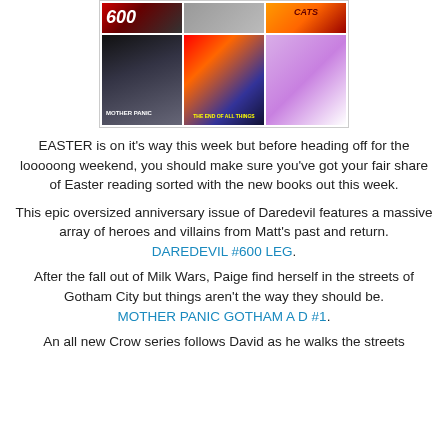[Figure (photo): Grid of comic book covers including Daredevil #600, Mother Panic, The End of All Things, and a Cats collection]
EASTER is on it's way this week but before heading off for the looooong weekend, you should make sure you've got your fair share of Easter reading sorted with the new books out this week.
This epic oversized anniversary issue of Daredevil features a massive array of heroes and villains from Matt's past and return. DAREDEVIL #600 LEG.
After the fall out of Milk Wars, Paige find herself in the streets of Gotham City but things aren't the way they should be. MOTHER PANIC GOTHAM A D #1.
An all new Crow series follows David as he walks the streets